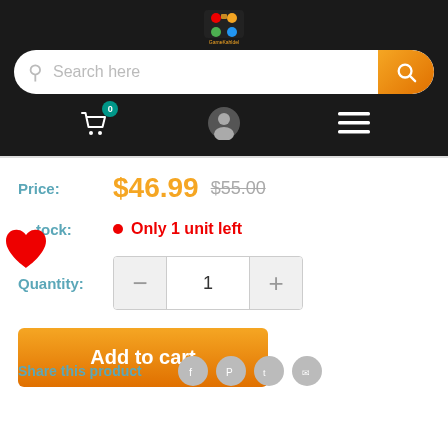[Figure (logo): GameKahldel logo - colorful gaming logo on black background]
Search here
0
Price: $46.99 $55.00
Stock: Only 1 unit left
Quantity: 1
Add to cart
Share this product